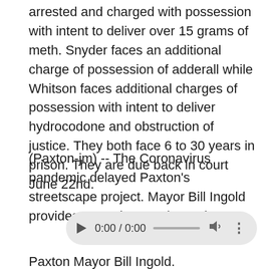arrested and charged with possession with intent to deliver over 15 grams of meth. Snyder faces an additional charge of possession of adderall while Whitson faces additional charges of possession with intent to deliver hydrocodone and obstruction of justice. They both face 6 to 30 years in prison. They are due back in court June 22nd.
(Paxton-jm) -- The Coronavirus pandemic delayed Paxton's streetscape project. Mayor Bill Ingold provides an update on the project…
[Figure (other): Audio player widget showing 0:00 / 0:00 with play button, progress bar, volume icon, and more options icon]
Paxton Mayor Bill Ingold.